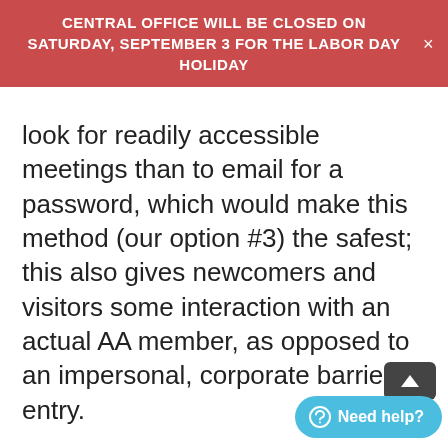CENTRAL OFFICE WILL BE CLOSED ON SATURDAY, SEPTEMBER 3 FOR THE LABOR DAY HOLIDAY
look for readily accessible meetings than to email for a password, which would make this method (our option #3) the safest; this also gives newcomers and visitors some interaction with an actual AA member, as opposed to an impersonal, corporate barrier to entry.
Set Safe Meeting Default Settings
On the Zoom Settings page, turn off participant controls:
1. Sign into Zoom.us.
2. Click on the Settings link on the left.